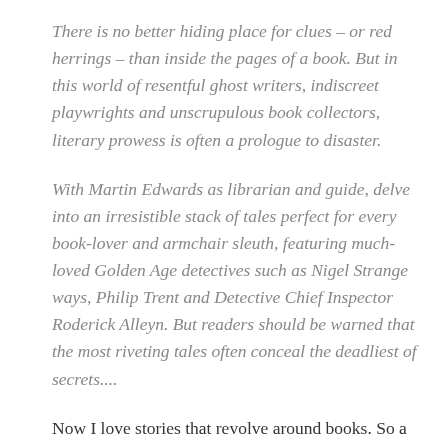There is no better hiding place for clues – or red herrings – than inside the pages of a book. But in this world of resentful ghost writers, indiscreet playwrights and unscrupulous book collectors, literary prowess is often a prologue to disaster.
With Martin Edwards as librarian and guide, delve into an irresistible stack of tales perfect for every book-lover and armchair sleuth, featuring much-loved Golden Age detectives such as Nigel Strangeways, Philip Trent and Detective Chief Inspector Roderick Alleyn. But readers should be warned that the most riveting tales often conceal the deadliest of secrets....
Now I love stories that revolve around books. So a collection of short stories, all crime stories to boot, that